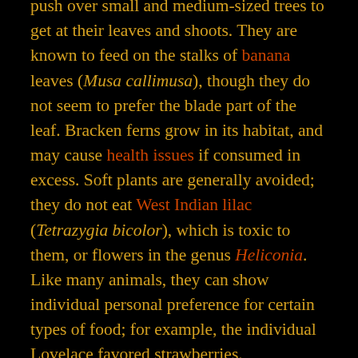push over small and medium-sized trees to get at their leaves and shoots. They are known to feed on the stalks of banana leaves (Musa callimusa), though they do not seem to prefer the blade part of the leaf. Bracken ferns grow in its habitat, and may cause health issues if consumed in excess. Soft plants are generally avoided; they do not eat West Indian lilac (Tetrazygia bicolor), which is toxic to them, or flowers in the genus Heliconia. Like many animals, they can show individual personal preference for certain types of food; for example, the individual Lovelace favored strawberries.
According to Darius Bowman, epiphytic ferns are an important part of the diet of this dinosaur due to the inclusion of “neochrome.” Presumably, this is shorthand for neochromosomes, which are large chromosomes that do not occur naturally but have been developed through